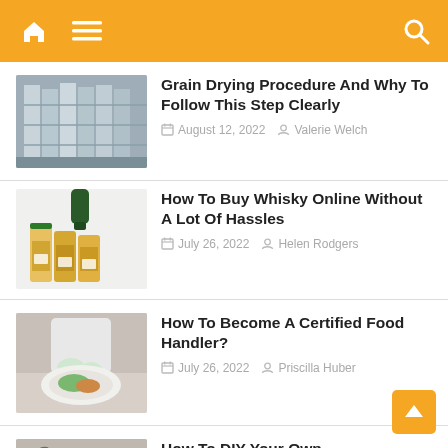Navigation bar with home, menu, and search icons
Grain Drying Procedure And Why To Follow This Step Clearly
August 12, 2022  Valerie Welch
How To Buy Whisky Online Without A Lot Of Hassles
July 26, 2022  Helen Rodgers
How To Become A Certified Food Handler?
July 26, 2022  Priscilla Huber
How To DIY Your Own Wedding Menu But Make It Look Like You Didn't?